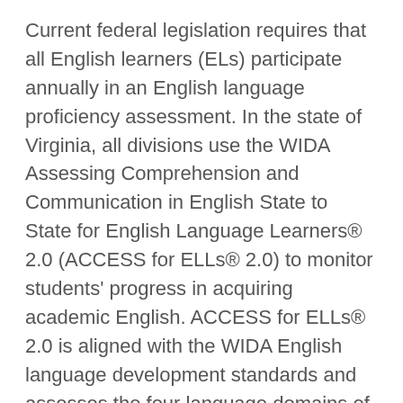Current federal legislation requires that all English learners (ELs) participate annually in an English language proficiency assessment. In the state of Virginia, all divisions use the WIDA Assessing Comprehension and Communication in English State to State for English Language Learners® 2.0 (ACCESS for ELLs® 2.0) to monitor students' progress in acquiring academic English. ACCESS for ELLs® 2.0 is aligned with the WIDA English language development standards and assesses the four language domains of listening, speaking, reading, and writing.